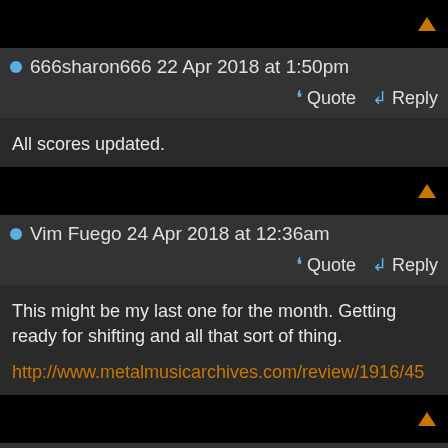666sharon666 22 Apr 2018 at 1:50pm
Quote  Reply
All scores updated.
Vim Fuego 24 Apr 2018 at 12:36am
Quote  Reply
This might be my last one for the month. Getting ready for shifting and all that sort of thing.
http://www.metalmusicarchives.com/review/1916/45
666sharon666 26 Apr 2018 at 8:08am
Quote  Reply